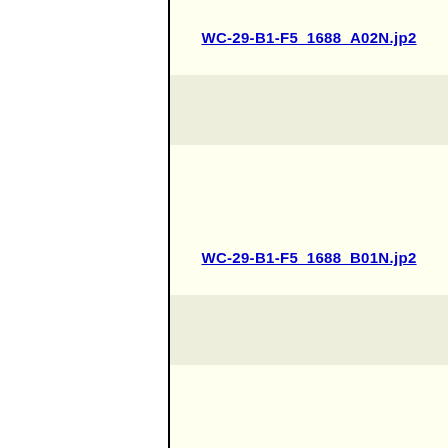WC-29-B1-F5_1688_A02N.jp2
WC-29-B1-F5_1688_B01N.jp2
WC-29-B1-F5_1688_B02N.jp2
WC-29-B1-F5_1688_C01N.jp2